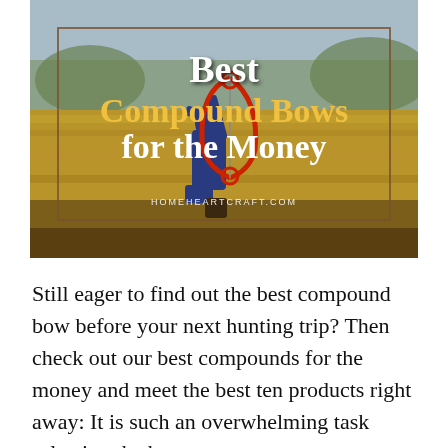[Figure (photo): A person kneeling and aiming a red compound bow outdoors in a field with tall golden grass and trees in the background. Text overlay reads 'Best Compound Bows for the Money' with 'HOMEHEARTCRAFT.COM' below. There is a decorative rectangular border overlay on the image.]
Still eager to find out the best compound bow before your next hunting trip? Then check out our best compounds for the money and meet the best ten products right away: It is such an overwhelming task selecting the best